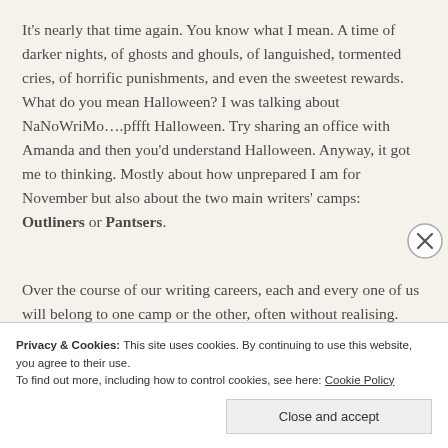It's nearly that time again. You know what I mean. A time of darker nights, of ghosts and ghouls, of languished, tormented cries, of horrific punishments, and even the sweetest rewards. What do you mean Halloween? I was talking about NaNoWriMo….pffft Halloween. Try sharing an office with Amanda and then you'd understand Halloween. Anyway, it got me to thinking. Mostly about how unprepared I am for November but also about the two main writers' camps: Outliners or Pantsers.
Over the course of our writing careers, each and every one of us will belong to one camp or the other, often without realising.
Privacy & Cookies: This site uses cookies. By continuing to use this website, you agree to their use.
To find out more, including how to control cookies, see here: Cookie Policy